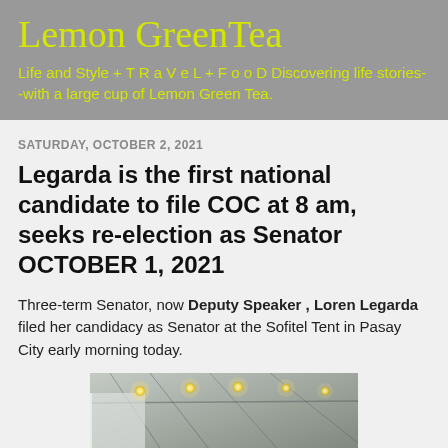Lemon GreenTea
Life and Style + T R a V e L + F o o D Discovering life stories--with a large cup of Lemon Green Tea.
SATURDAY, OCTOBER 2, 2021
Legarda is the first national candidate to file COC at 8 am, seeks re-election as Senator OCTOBER 1, 2021
Three-term Senator, now Deputy Speaker , Loren Legarda filed her candidacy as Senator at the Sofitel Tent in Pasay City early morning today.
[Figure (photo): Interior photo of a large tent venue with overhead lights and a dark ceiling structure, likely the Sofitel Tent in Pasay City.]